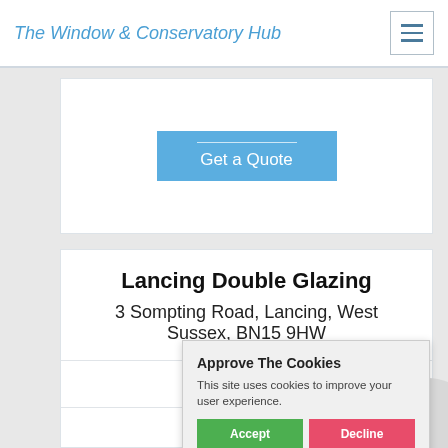The Window & Conservatory Hub
Get a Quote
Lancing Double Glazing
3 Sompting Road, Lancing, West Sussex, BN15 9HW
33.05
[Figure (other): Two star rating icons (unfilled/grey stars)]
[Figure (other): Checkbox (unchecked)]
Approve The Cookies
This site uses cookies to improve your user experience.
Accept  Decline
Cookie policy